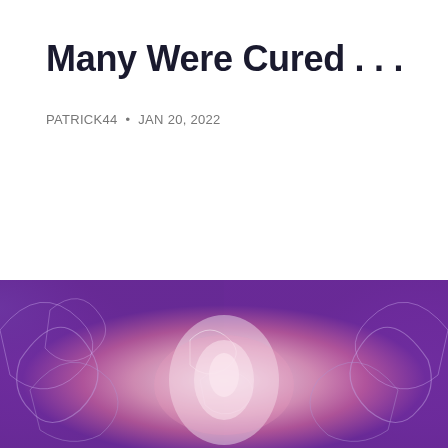Many Were Cured . . .
PATRICK44 • JAN 20, 2022
[Figure (illustration): Abstract mystical illustration with swirling patterns in purple, blue, pink and white colors, with a bright white/pink light source in the center.]